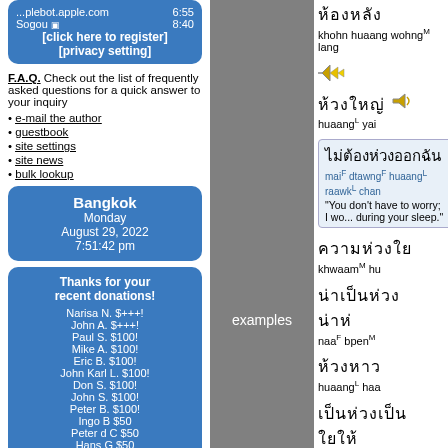...plebot.apple.com  6:55
Sogou  8:40
[click here to register]
[privacy setting]
F.A.Q. Check out the list of frequently asked questions for a quick answer to your inquiry
e-mail the author
guestbook
site settings
site news
bulk lookup
Bangkok
Monday
August 29, 2022
7:51:42 pm
Thanks for your recent donations!
Narisa N. $+++!
John A. $+++!
Paul S. $100!
Mike A. $100!
Eric B. $100!
John Karl L. $100!
Don S. $100!
John S. $100!
Peter B. $100!
Ingo B $50
Peter d C $50
Hans G $50
examples
ห้อง  khohn huaang wohngM lang
ห้วง  huaangL yai
maiF dtawngF huaangL raawkL chan
"You don't have to worry; I wo... during your sleep."
ความห  khwaamM hu
น่าเป  naaF bpenM
ห้วงหา  huaangL haa
เป็นห  bpenM huaa
ความ  khwaamM bp